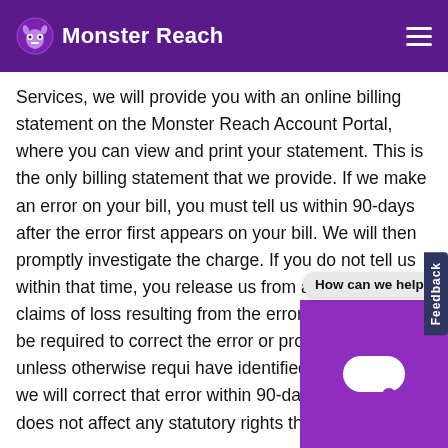Monster Reach
Services, we will provide you with an online billing statement on the Monster Reach Account Portal, where you can view and print your statement. This is the only billing statement that we provide. If we make an error on your bill, you must tell us within 90-days after the error first appears on your bill. We will then promptly investigate the charge. If you do not tell us within that time, you release us from all liability and claims of loss resulting from the error and we won't be required to correct the error or provide a refund, unless otherwise requi... have identified a billing error, we will correct that error within 90-days. This policy does not affect any statutory rights that may apply.
Refund Policy. Unless otherwise provided by law or by a particular Paid Service offer, all